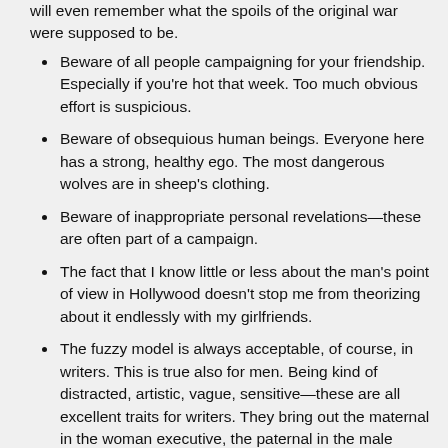will even remember what the spoils of the original war were supposed to be.
Beware of all people campaigning for your friendship. Especially if you're hot that week. Too much obvious effort is suspicious.
Beware of obsequious human beings. Everyone here has a strong, healthy ego. The most dangerous wolves are in sheep's clothing.
Beware of inappropriate personal revelations—these are often part of a campaign.
The fact that I know little or less about the man's point of view in Hollywood doesn't stop me from theorizing about it endlessly with my girlfriends.
The fuzzy model is always acceptable, of course, in writers. This is true also for men. Being kind of distracted, artistic, vague, sensitive—these are all excellent traits for writers. They bring out the maternal in the woman executive, the paternal in the male executive, and this is how talent gets embraced by its protectors: the agents who have to mediate between it and the exploitative buyers.